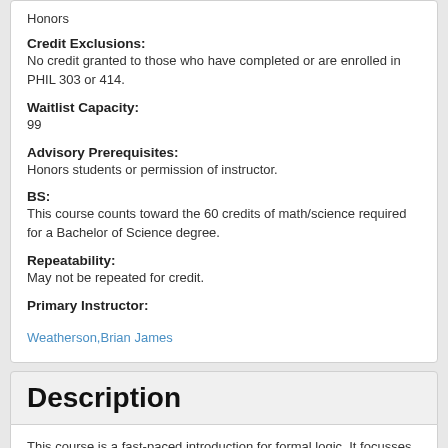Honors
Credit Exclusions:
No credit granted to those who have completed or are enrolled in PHIL 303 or 414.
Waitlist Capacity:
99
Advisory Prerequisites:
Honors students or permission of instructor.
BS:
This course counts toward the 60 credits of math/science required for a Bachelor of Science degree.
Repeatability:
May not be repeated for credit.
Primary Instructor:
Weatherson,Brian James
Description
This course is a fast-paced introduction for formal logic. It focusses on the use of proof trees to check for validity, and to build counter-models, across a range of logics. A large theme of the course will be about how different logics are appropriate for different kinds of tasks, and we'll discuss what (if